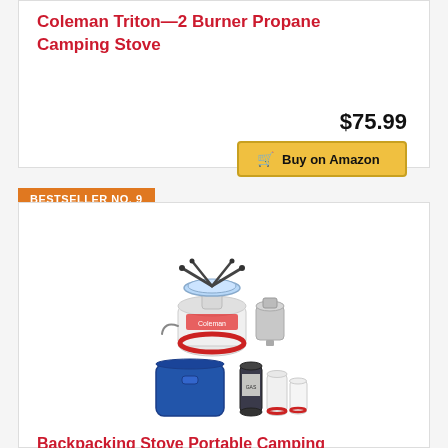Coleman Triton—2 Burner Propane Camping Stove
$75.99
Buy on Amazon
BESTSELLER NO. 9
[Figure (photo): Backpacking camp stove kit showing stove burner head with blue flame ring, fuel canister, adapter, carrying case, and various fuel canister sizes]
Backpacking Stove Portable Camping Stove Burner, Caudblor Small Backpack